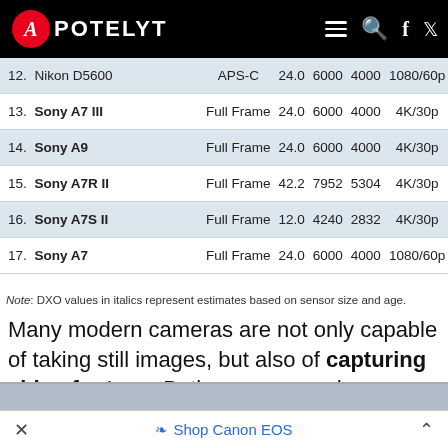APOTELYT
| #. Name | Sensor | MP | W | H | Video | DXO | ... |
| --- | --- | --- | --- | --- | --- | --- | --- |
| 12. Nikon D5600 | APS-C | 24.0 | 6000 | 4000 | 1080/60p | 24.1 | 14... |
| 13. Sony A7 III | Full Frame | 24.0 | 6000 | 4000 | 4K/30p | 25.0 | 14... |
| 14. Sony A9 | Full Frame | 24.0 | 6000 | 4000 | 4K/30p | 24.9 | 13... |
| 15. Sony A7R II | Full Frame | 42.2 | 7952 | 5304 | 4K/30p | 26.0 | 13... |
| 16. Sony A7S II | Full Frame | 12.0 | 4240 | 2832 | 4K/30p | 23.6 | 13... |
| 17. Sony A7 | Full Frame | 24.0 | 6000 | 4000 | 1080/60p | 24.8 | 14... |
Note: DXO values in italics represent estimates based on sensor size and age.
Many modern cameras are not only capable of taking still images, but also of capturing video footage. Both cameras under consideration are equipped with sensors that have a sufficiently high read-out speed for moving images, and both provide the same movie specifications (1080/60p).
Shop Canon EOS